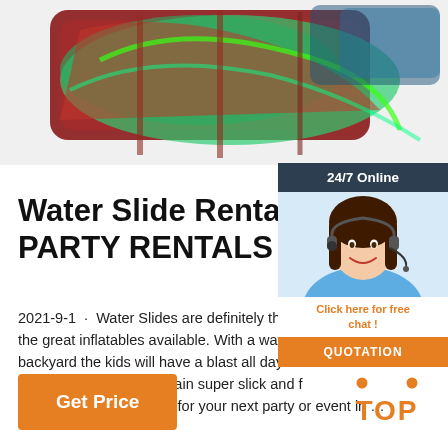[Figure (photo): Colorful inflatable water slide structure, partially visible at top of page]
[Figure (infographic): 24/7 Online chat widget with woman wearing headset, Click here for free chat link, and QUOTATION orange button]
Water Slide Rentals ~ BO PARTY RENTALS
2021-9-1 · Water Slides are definitely the m the great inflatables available. With a water s backyard the kids will have a blast all day. Al slides are treated to remain super slick and f ages. Rent a water slide for your next party or event in …
[Figure (other): Orange Get Price button]
[Figure (other): TOP icon with orange dots and text]